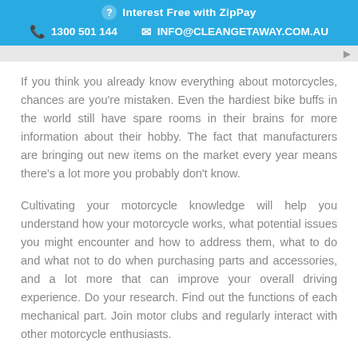Interest Free with ZipPay  |  1300 501 144  |  INFO@CLEANGETAWAY.COM.AU
If you think you already know everything about motorcycles, chances are you're mistaken. Even the hardiest bike buffs in the world still have spare rooms in their brains for more information about their hobby. The fact that manufacturers are bringing out new items on the market every year means there's a lot more you probably don't know.
Cultivating your motorcycle knowledge will help you understand how your motorcycle works, what potential issues you might encounter and how to address them, what to do and what not to do when purchasing parts and accessories, and a lot more that can improve your overall driving experience. Do your research. Find out the functions of each mechanical part. Join motor clubs and regularly interact with other motorcycle enthusiasts.